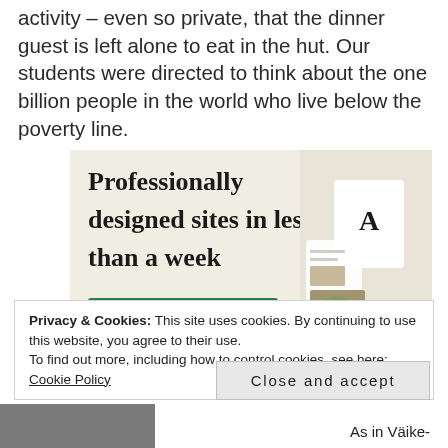activity – even so private, that the dinner guest is left alone to eat in the hut. Our students were directed to think about the one billion people in the world who live below the poverty line.
[Figure (screenshot): Advertisement banner with beige background showing 'Professionally designed sites in less than a week' text with a green 'Explore options' button and mockup website screenshots on the right side.]
Privacy & Cookies: This site uses cookies. By continuing to use this website, you agree to their use.
To find out more, including how to control cookies, see here: Cookie Policy
Close and accept
As in Väike-